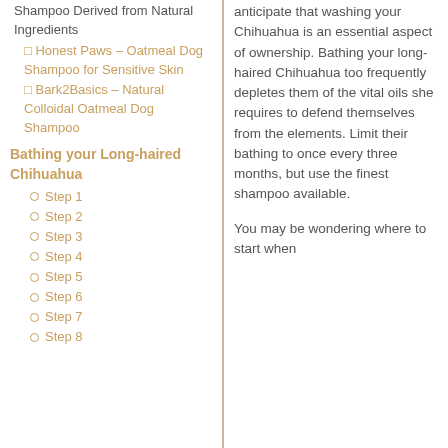Shampoo Derived from Natural Ingredients
Honest Paws – Oatmeal Dog Shampoo for Sensitive Skin
Bark2Basics – Natural Colloidal Oatmeal Dog Shampoo
Bathing your Long-haired Chihuahua
Step 1
Step 2
Step 3
Step 4
Step 5
Step 6
Step 7
Step 8
anticipate that washing your Chihuahua is an essential aspect of ownership. Bathing your long-haired Chihuahua too frequently depletes them of the vital oils she requires to defend themselves from the elements. Limit their bathing to once every three months, but use the finest shampoo available.
You may be wondering where to start when